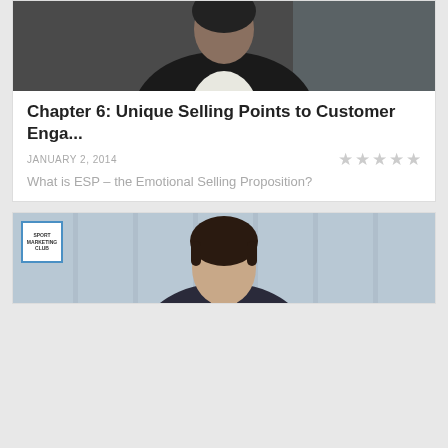[Figure (photo): Person in dark suit jacket and white shirt, upper body visible against light background]
Chapter 6: Unique Selling Points to Customer Enga...
JANUARY 2, 2014
What is ESP – the Emotional Selling Proposition?
[Figure (photo): Person with dark hair in front of light blue/grey curtain background, with Sport Marketing Club logo in top left corner]